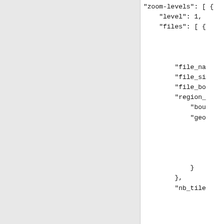"zoom-levels": [ {
    "level": 1,
    "files": [ {



        "file_na
        "file_si
        "file_bo
        "region_
            "bou
            "geo



            }
        },
        "nb_tile





            "cac
            "max
            "cov